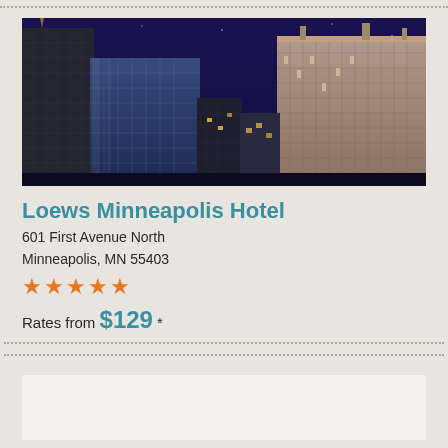[Figure (photo): Night skyline photo of Minneapolis city buildings including tall skyscrapers with glass and stone facades against a deep blue-purple night sky]
Loews Minneapolis Hotel
601 First Avenue North
Minneapolis, MN 55403
★★★★★
Rates from $129 *